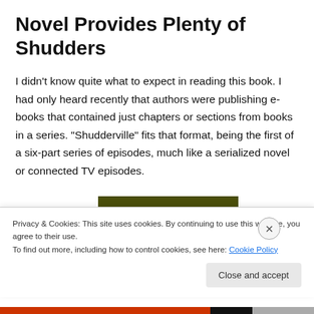Novel Provides Plenty of Shudders
I didn't know quite what to expect in reading this book. I had only heard recently that authors were publishing e-books that contained just chapters or sections from books in a series. “Shudderville” fits that format, being the first of a six-part series of episodes, much like a serialized novel or connected TV episodes.
[Figure (photo): Book cover image — dark olive/green background, top portion visible]
Privacy & Cookies: This site uses cookies. By continuing to use this website, you agree to their use.
To find out more, including how to control cookies, see here: Cookie Policy
Close and accept